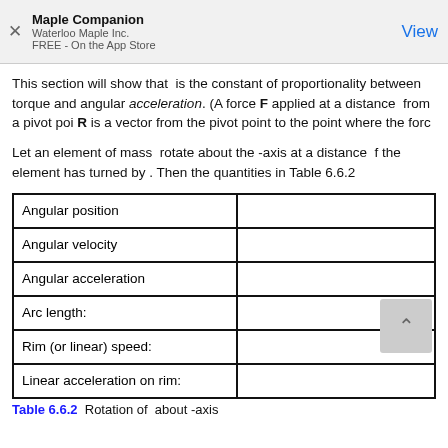Maple Companion
Waterloo Maple Inc.
FREE - On the App Store
View
This section will show that  is the constant of proportionality between torque and angular acceleration. (A force F applied at a distance  from a pivot poi... R is a vector from the pivot point to the point where the forc...
Let an element of mass  rotate about the -axis at a distance  f... the element has turned by . Then the quantities in Table 6.6.2...
|  |  |
| --- | --- |
| Angular position |  |
| Angular velocity |  |
| Angular acceleration |  |
| Arc length: |  |
| Rim (or linear) speed: |  |
| Linear acceleration on rim: |  |
Table 6.6.2  Rotation of  about -axis